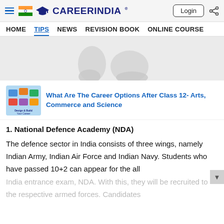CareerIndia — HOME | TIPS | NEWS | REVISION BOOK | ONLINE COURSE
[Figure (photo): Partial view of feet/socks image cropped at top]
[Figure (photo): Thumbnail image for related article about career options after class 12]
What Are The Career Options After Class 12- Arts, Commerce and Science
1. National Defence Academy (NDA)
The defence sector in India consists of three wings, namely Indian Army, Indian Air Force and Indian Navy. Students who have passed 10+2 can appear for the all India entrance exam, NDA. With this, they will be recruited to the respective armed forces. Candidates